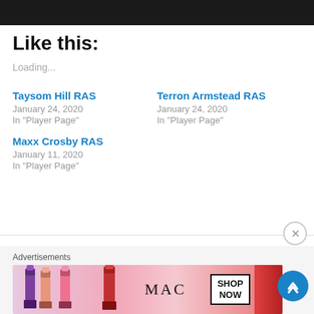Like this:
Loading...
Taysom Hill RAS
January 24, 2020
In "Player Page"
Terron Armstead RAS
January 24, 2020
In "Player Page"
Maxx Crosby RAS
January 11, 2020
In "Player Page"
Advertisements
[Figure (photo): MAC cosmetics advertisement banner showing colorful lipsticks with MAC logo and SHOP NOW button]